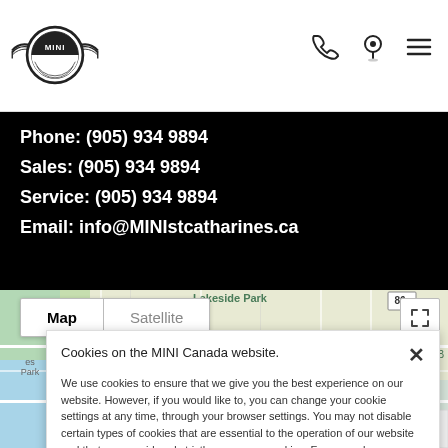MINI dealership website header with MINI logo, phone icon, location icon, and hamburger menu
Phone: (905) 934 9894
Sales: (905) 934 9894
Service: (905) 934 9894
Email: info@MINIstcatharines.ca
[Figure (map): Google Maps view showing Port Dalhousie, Grantham, Lakeside Park area with Map/Satellite toggle and fullscreen button]
Cookies on the MINI Canada website.

We use cookies to ensure that we give you the best experience on our website. However, if you would like to, you can change your cookie settings at any time, through your browser settings. You may not disable certain types of cookies that are essential to the operation of our website and that are considered strictly necessary cookies. For example, we use strictly necessary cookies to provide you with regional pricing information. You can find detailed information about how cookies are used on this website by clicking here.